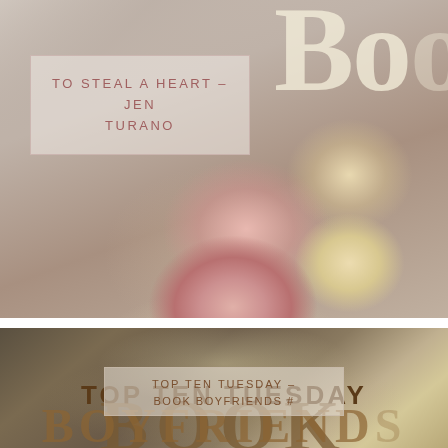[Figure (illustration): Top image block: roses on a lace cloth background with large semi-transparent 'Boo' text in top-right corner. A rectangular bordered box overlay contains the text 'TO STEAL A HEART - JEN TURANO' in spaced uppercase letters.]
TO STEAL A HEART - JEN TURANO
[Figure (illustration): Bottom image block: dark toned photo of a book with ribbon/satin background. Large semi-transparent 'BOOK' text watermark and partial 'BOYFRIENDS' watermark at bottom. Overlay box contains 'TOP TEN TUESDAY - BOOK BOYFRIENDS #...' text. 'TOP TEN TUESDAY' in bold dark brown text above the watermark.]
TOP TEN TUESDAY - BOOK BOYFRIENDS #